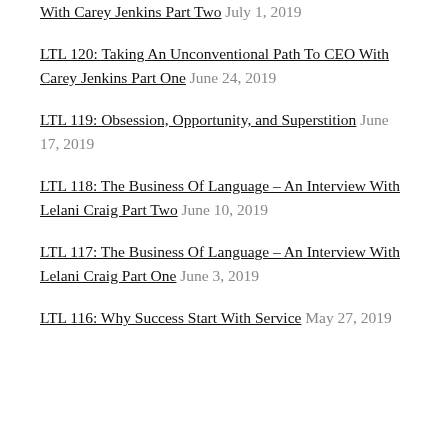With Carey Jenkins Part Two July 1, 2019
LTL 120: Taking An Unconventional Path To CEO With Carey Jenkins Part One June 24, 2019
LTL 119: Obsession, Opportunity, and Superstition June 17, 2019
LTL 118: The Business Of Language – An Interview With Lelani Craig Part Two June 10, 2019
LTL 117: The Business Of Language – An Interview With Lelani Craig Part One June 3, 2019
LTL 116: Why Success Start With Service May 27, 2019